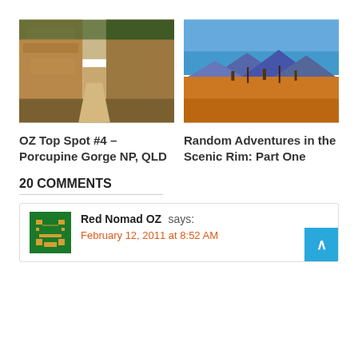[Figure (photo): Photo of Porcupine Gorge NP, QLD showing rocky gorge with sandy path]
[Figure (photo): Photo of Scenic Rim showing blue sky, mountains in background and orange grassland]
OZ Top Spot #4 – Porcupine Gorge NP, QLD
Random Adventures in the Scenic Rim: Part One
20 COMMENTS
Red Nomad OZ says:
February 12, 2011 at 8:52 AM